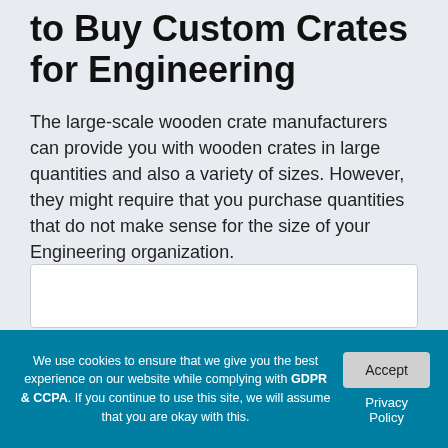to Buy Custom Crates for Engineering
The large-scale wooden crate manufacturers can provide you with wooden crates in large quantities and also a variety of sizes. However, they might require that you purchase quantities that do not make sense for the size of your Engineering organization.
We use cookies to ensure that we give you the best experience on our website while complying with GDPR & CCPA. If you continue to use this site, we will assume that you are okay with this.